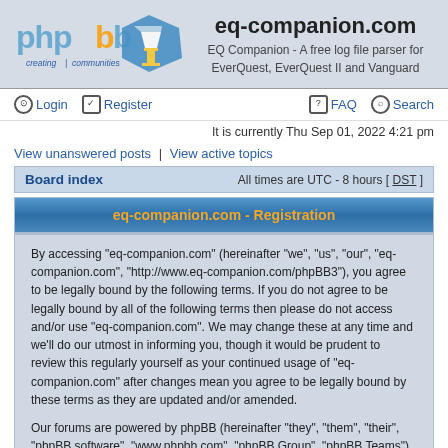[Figure (logo): phpBB logo - creating communities text with blue pentagon and orange cup graphic]
eq-companion.com
EQ Companion - A free log file parser for EverQuest, EverQuest II and Vanguard
Login | Register | FAQ | Search
It is currently Thu Sep 01, 2022 4:21 pm
View unanswered posts | View active topics
Board index   All times are UTC - 8 hours [ DST ]
eq-companion.com - Registration
By accessing "eq-companion.com" (hereinafter "we", "us", "our", "eq-companion.com", "http://www.eq-companion.com/phpBB3"), you agree to be legally bound by the following terms. If you do not agree to be legally bound by all of the following terms then please do not access and/or use "eq-companion.com". We may change these at any time and we'll do our utmost in informing you, though it would be prudent to review this regularly yourself as your continued usage of "eq-companion.com" after changes mean you agree to be legally bound by these terms as they are updated and/or amended.
Our forums are powered by phpBB (hereinafter "they", "them", "their", "phpBB software", "www.phpbb.com", "phpBB Group", "phpBB Teams") which is a bulletin board solution released under the "General Public License" (hereinafter "GPL") and can be downloaded